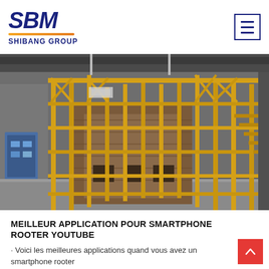SBM SHIBANG GROUP
[Figure (photo): Industrial facility interior showing large yellow metal scaffolding/framework structure with brick/stone equipment, inside a warehouse-style building with grey concrete walls and floor.]
MEILLEUR APPLICATION POUR SMARTPHONE ROOTER YOUTUBE
· Voici les meilleures applications quand vous avez un smartphone rooter